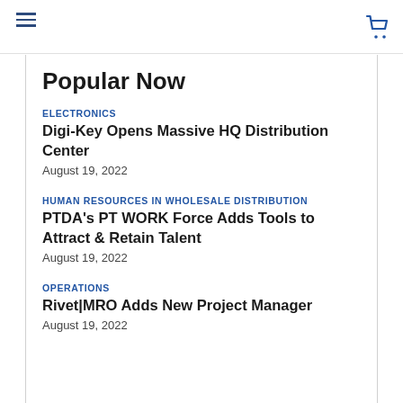Navigation header with hamburger menu and cart icon
Popular Now
ELECTRONICS
Digi-Key Opens Massive HQ Distribution Center
August 19, 2022
HUMAN RESOURCES IN WHOLESALE DISTRIBUTION
PTDA's PT WORK Force Adds Tools to Attract & Retain Talent
August 19, 2022
OPERATIONS
Rivet|MRO Adds New Project Manager
August 19, 2022